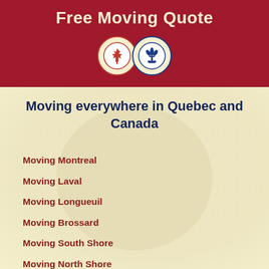Free Moving Quote
[Figure (logo): Two circular logos side by side: left circle contains a red maple leaf (Canada), right circle contains a blue fleur-de-lis (Quebec), both on cream/white backgrounds]
Moving everywhere in Quebec and Canada
Moving Montreal
Moving Laval
Moving Longueuil
Moving Brossard
Moving South Shore
Moving North Shore
Moving Vaudreuil Dorion